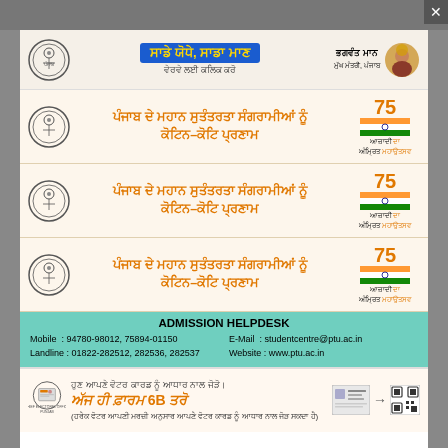[Figure (infographic): Punjab government banner with blue box Punjabi text 'ਸਾਡੇ ਯੋਧੇ, ਸਾਡਾ ਮਾਣ', minister photo of Bhagwant Mann with text ਭਗਵੰਤ ਮਾਨ ਮੁੱਖ ਮੰਤਰੀ, ਪੰਜਾਬ, government emblem logo]
[Figure (infographic): Punjab independence banner: ਪੰਜਾਬ ਦੇ ਮਹਾਨ ਸੁਤੰਤਰਤਾ ਸੰਗਰਾਮੀਆਂ ਨੂੰ ਕੋਟਿਨ-ਕੋਟਿ ਪ੍ਰਣਾਮ with Azadi Ka Amrit Mahotsav 75 logo]
[Figure (infographic): Punjab independence banner repeat 2]
[Figure (infographic): Punjab independence banner repeat 3]
ADMISSION HELPDESK
Mobile : 94780-98012, 75894-01150
Landline : 01822-282512, 282536, 282537
E-Mail : studentcentre@ptu.ac.in
Website : www.ptu.ac.in
[Figure (infographic): Election voter card linkage banner: ਹੁਣ ਆਪਣੇ ਵੋਟਰ ਕਾਰਡ ਨੂੰ ਆਧਾਰ ਨਾਲ ਜੋੜੋ ਅੱਜ ਹੀ ਫ਼ਾਰਮ 6B ਤਰੋ]